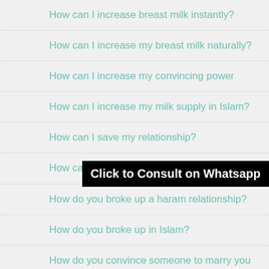How can I increase breast milk instantly?
How can I increase my breast milk naturally?
How can I increase my convincing power
How can I increase my milk supply in Islam?
How can I save my relationship?
How can we increase our breast size
How do you broke up a haram relationship?
How do you broke up in Islam?
How do you convince someone to marry you
how long should i wait for my husband to come back
Click to Consult on Whatsapp